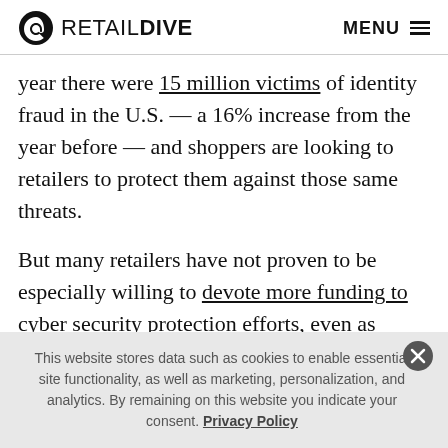RETAIL DIVE  MENU
year there were 15 million victims of identity fraud in the U.S. — a 16% increase from the year before — and shoppers are looking to retailers to protect them against those same threats.

But many retailers have not proven to be especially willing to devote more funding to cyber security protection efforts, even as threats and attacks have increased. They've also been tight-lipped when it comes
This website stores data such as cookies to enable essential site functionality, as well as marketing, personalization, and analytics. By remaining on this website you indicate your consent. Privacy Policy